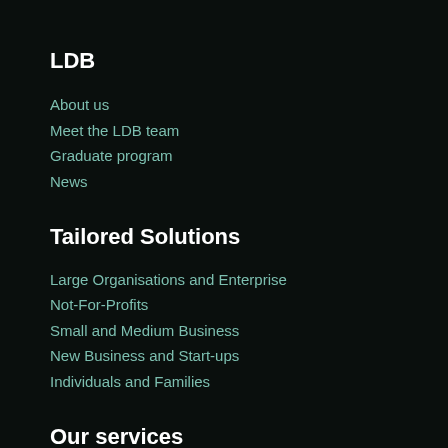LDB
About us
Meet the LDB team
Graduate program
News
Tailored Solutions
Large Organisations and Enterprise
Not-For-Profits
Small and Medium Business
New Business and Start-ups
Individuals and Families
Our services
Tax and compliance
Business advisory
Real estate and property